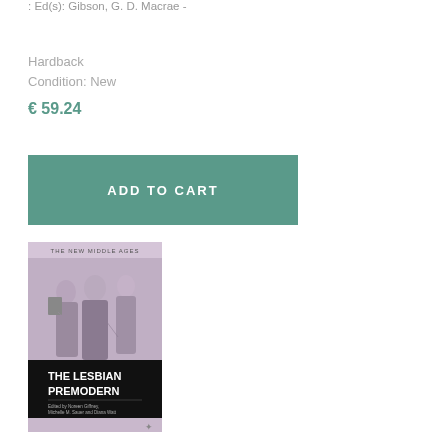: Ed(s): Gibson, G. D. Macrae -
Hardback
Condition: New
€ 59.24
ADD TO CART
[Figure (photo): Book cover of 'The Lesbian Premodern' from the New Middle Ages series, showing medieval figures in a purple-tinted illustration with a black title panel at the bottom.]